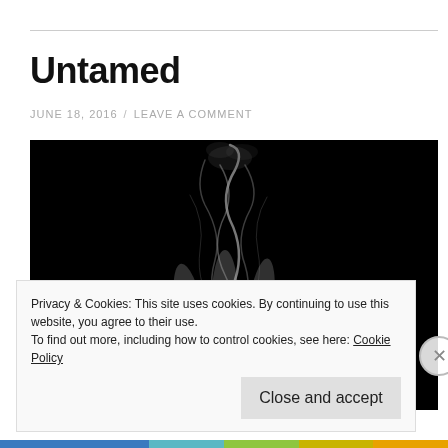Untamed
JUNE 18, 2016  /  LEAVE A COMMENT
[Figure (photo): Black and white photograph of an open human hand with wispy smoke rising from the palm against a black background]
Privacy & Cookies: This site uses cookies. By continuing to use this website, you agree to their use.
To find out more, including how to control cookies, see here: Cookie Policy
[Close and accept]